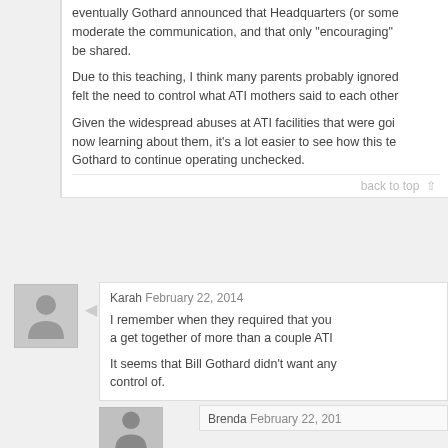eventually Gothard announced that Headquarters (or some moderate the communication, and that only "encouraging" be shared.
Due to this teaching, I think many parents probably ignored felt the need to control what ATI mothers said to each other
Given the widespread abuses at ATI facilities that were going now learning about them, it's a lot easier to see how this te Gothard to continue operating unchecked.
back to top
Karah February 22, 2014
I remember when they required that you a get together of more than a couple ATI
It seems that Bill Gothard didn't want any control of.
Brenda February 22, 201